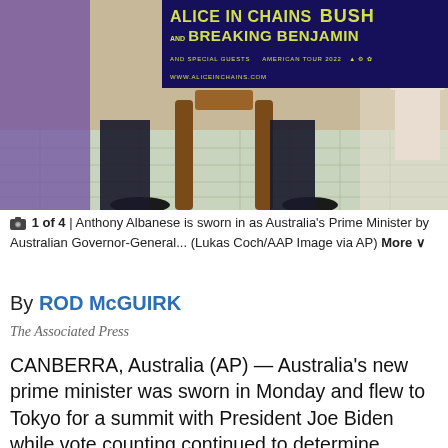[Figure (photo): Advertisement banner for Alice in Chains, Breaking Benjamin, and Bush American Tour 2022, on dark navy background with yellow-green text]
[Figure (photo): Photo of people being sworn in, showing lower bodies seated in chairs around a wooden table on a tiled floor]
1 of 4 | Anthony Albanese is sworn in as Australia's Prime Minister by Australian Governor-General... (Lukas Coch/AAP Image via AP) More
By ROD McGUIRK
The Associated Press
CANBERRA, Australia (AP) — Australia's new prime minister was sworn in Monday and flew to Tokyo for a summit with President Joe Biden while vote counting continued to determine whether he will control a majority in a Parliament that is demanding tougher action on climate change.